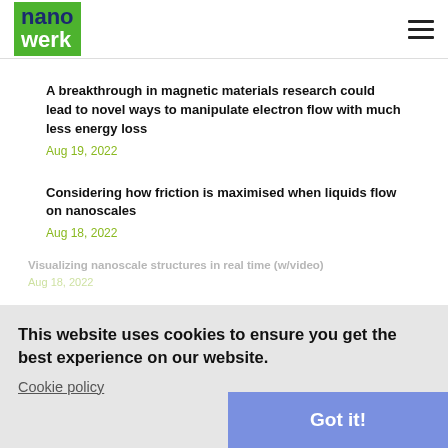nanowerk
A breakthrough in magnetic materials research could lead to novel ways to manipulate electron flow with much less energy loss
Aug 19, 2022
Considering how friction is maximised when liquids flow on nanoscales
Aug 18, 2022
Visualizing nanoscale structures in real time (w/video)
Aug 18, 2022
Experimenting with lasers to trap laser light
This website uses cookies to ensure you get the best experience on our website.
Cookie policy
Microbots could unblock medical devices in the body
Aug 16, 2022
Got it!